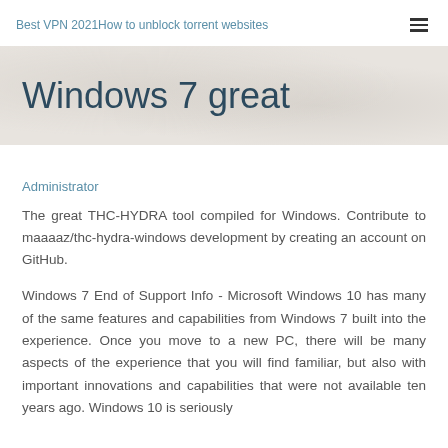Best VPN 2021How to unblock torrent websites
Windows 7 great
Administrator
The great THC-HYDRA tool compiled for Windows. Contribute to maaaaz/thc-hydra-windows development by creating an account on GitHub.
Windows 7 End of Support Info - Microsoft Windows 10 has many of the same features and capabilities from Windows 7 built into the experience. Once you move to a new PC, there will be many aspects of the experience that you will find familiar, but also with important innovations and capabilities that were not available ten years ago. Windows 10 is seriously